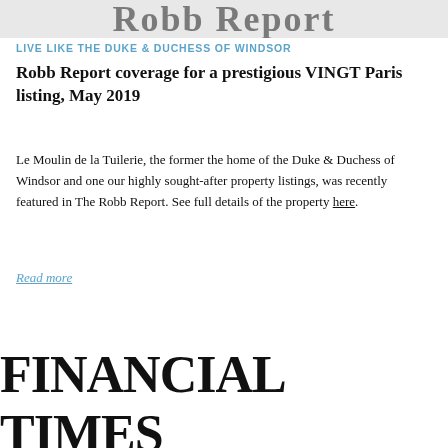[Figure (other): Partial view of Robb Report logo/masthead, cropped at top of page]
LIVE LIKE THE DUKE & DUCHESS OF WINDSOR
Robb Report coverage for a prestigious VINGT Paris listing, May 2019
Le Moulin de la Tuilerie, the former the home of the Duke & Duchess of Windsor and one our highly sought-after property listings, was recently featured in The Robb Report. See full details of the property here.
Read more
[Figure (logo): Financial Times logo in large bold serif font]